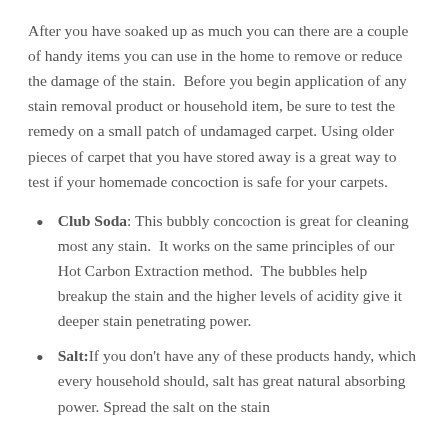After you have soaked up as much you can there are a couple of handy items you can use in the home to remove or reduce the damage of the stain.  Before you begin application of any stain removal product or household item, be sure to test the remedy on a small patch of undamaged carpet. Using older pieces of carpet that you have stored away is a great way to test if your homemade concoction is safe for your carpets.
Club Soda: This bubbly concoction is great for cleaning most any stain.  It works on the same principles of our Hot Carbon Extraction method.  The bubbles help breakup the stain and the higher levels of acidity give it deeper stain penetrating power.
Salt: If you don't have any of these products handy, which every household should, salt has great natural absorbing power. Spread the salt on the stain